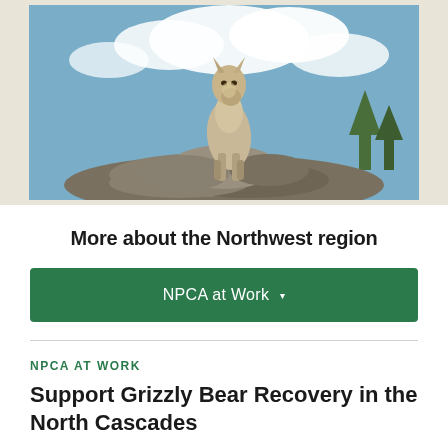[Figure (photo): A wolf standing on rocky terrain with blue sky and clouds in the background, trees visible on the right side.]
More about the Northwest region
NPCA at Work ▾
NPCA AT WORK
Support Grizzly Bear Recovery in the North Cascades
Help the threatened grizzly bear thrive again in its